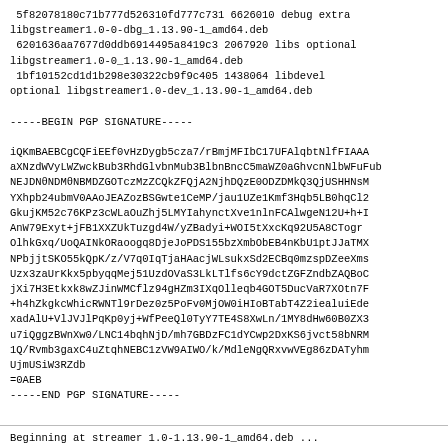5f82078180c71b777d526310fd777c731 6626010 debug extra libgstreamer1.0-0-dbg_1.13.90-1_amd64.deb
 6201636aa7677d0ddb6914495a8419c3 2067920 libs optional
libgstreamer1.0-0_1.13.90-1_amd64.deb
 1bf10152cd1d1b298e30322cb9f9c405 1438064 libdevel
optional libgstreamer1.0-dev_1.13.90-1_amd64.deb

-----BEGIN PGP SIGNATURE-----

iQKmBAEBCgCQFiEEf0vHzDygb5cza7/rBmjMFIbC17UFAlqbtNlfFIAAA
aXNzdWVyLWZwckBub3RhdGlvbnMub3BlbnBncC5maWZ0aGhvcnNlbWFuFub
NEJDN0NDM0NBMDZGOTczMzZCQkZFQjA2NjhDQzE0ODZDMkQ3QjUSHHNsM
YXhpb24ubmV0AAoJEAZozBSGwte1CeMP/jau1UZe1Kmf3Hqb5LB0hqCl2
GkujKM52c76KPz3cWLaOuZhj5LMYIahynctXve1nlnFCAlwgeN12U+h+I
AnW79Exyt+jFB1XXZUkTuzgd4W/yZBadyi+WOI5tXxcKq92U5A8CTogr
OlhkGxq/UoQAINkORaoogq8DjeJoPDS155bzXmbObEB4nKbU1ptJJaTMX
NPbjjtSKO55kQpK/z/V7q0IqTjaHAacjWLsukxSd2ECBq0mzspDZeeXms
Uzx3zaUrKkx5pbyqqMej51UzdOVaS3LkLTlfs6cY9dctZGFZndbZAQBoC
jXi7H3Etkxk8wZJinWMCflz94gHZm3IXqOlleqb4GOT5DucVaR7XOtn7F
+h4hZkgkcWhicRWNTl9rDez0z5PoFv0MjOW0iHIoBTabT4Z2iealuiEde
xadAlU+VlJVJlPqKp0yj+WfPeeQl0TyY7TE4S8XwLn/1MY8dHw60B0ZX3
u7iQggzBWnXw0/LNC14bqhNjD/mh7GBDzFC1dYCwp2DxKS6jvct58bNRM
1Q/Rvmb3gaxC4uZtqhNEBC1zVW9AIWO/k/MdleNgQRxvwVEg86zDATyhm
UjmUSiW3RZdb
=0AEB
-----END PGP SIGNATURE-----
Beginning at streamer 1.0-1.13.90-1_amd64.deb ...